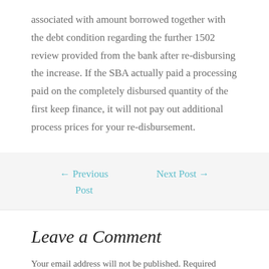associated with amount borrowed together with the debt condition regarding the further 1502 review provided from the bank after re-disbursing the increase. If the SBA actually paid a processing paid on the completely disbursed quantity of the first keep finance, it will not pay out additional process prices for your re-disbursement.
← Previous Post    Next Post →
Leave a Comment
Your email address will not be published. Required